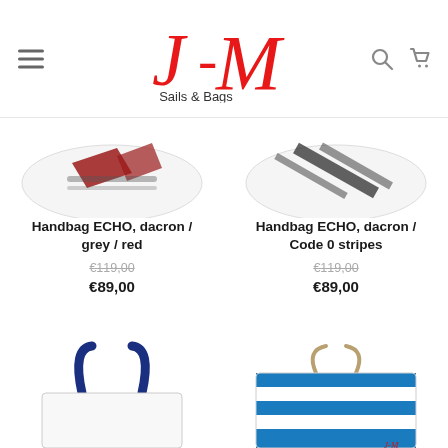[Figure (logo): J-M Sails & Bags logo in red italic script]
[Figure (photo): Handbag ECHO, dacron / grey / red — white bag with red and grey stripes]
Handbag ECHO, dacron / grey / red
€119,00
€89,00
[Figure (photo): Handbag ECHO, dacron / Code 0 stripes — white bag with black diagonal stripes]
Handbag ECHO, dacron / Code 0 stripes
€119,00
€89,00
[Figure (photo): Tote bag with deep blue handles, white fabric]
[Figure (photo): J-M branded bag with blue and white horizontal stripes and rope handles]